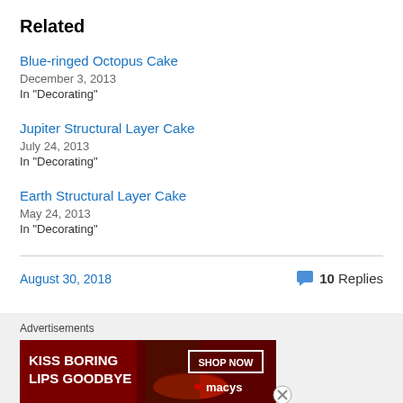Related
Blue-ringed Octopus Cake
December 3, 2013
In "Decorating"
Jupiter Structural Layer Cake
July 24, 2013
In "Decorating"
Earth Structural Layer Cake
May 24, 2013
In "Decorating"
August 30, 2018
10 Replies
Advertisements
[Figure (photo): Advertisement banner for Macy's showing a woman with red lips and text 'KISS BORING LIPS GOODBYE' with 'SHOP NOW' button and Macy's star logo]